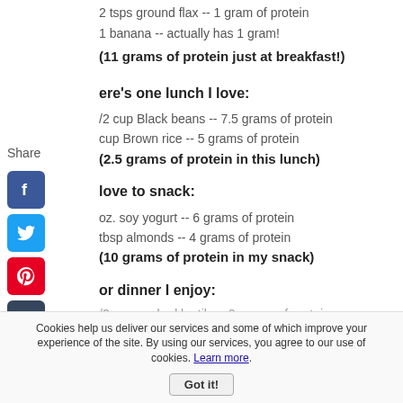2 tsps ground flax -- 1 gram of protein
1 banana -- actually has 1 gram!
(11 grams of protein just at breakfast!)
ere's one lunch I love:
/2 cup Black beans -- 7.5 grams of protein
cup Brown rice -- 5 grams of protein
(2.5 grams of protein in this lunch)
love to snack:
oz. soy yogurt -- 6 grams of protein
tbsp almonds -- 4 grams of protein
(10 grams of protein in my snack)
or dinner I enjoy:
/2 cup cooked lentils -- 9 grams of protein
Cookies help us deliver our services and some of which improve your experience of the site. By using our services, you agree to our use of cookies. Learn more. Got it!